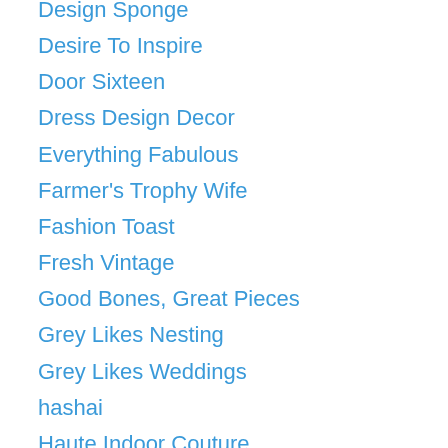Design Sponge
Desire To Inspire
Door Sixteen
Dress Design Decor
Everything Fabulous
Farmer's Trophy Wife
Fashion Toast
Fresh Vintage
Good Bones, Great Pieces
Grey Likes Nesting
Grey Likes Weddings
hashai
Haute Indoor Couture
Home Stories A 2 Z
Hometown Girl
House In Progress
Junk Camp
Katy Elliott
Lemon Lane Cottage
Little Green Notebook